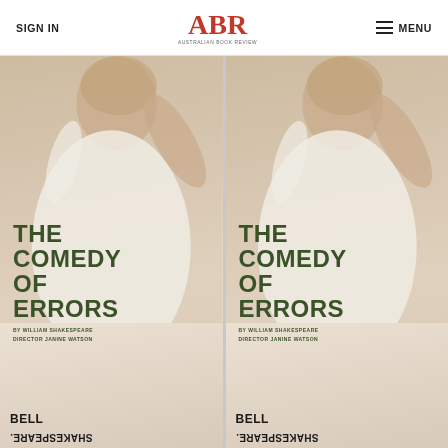SIGN IN | ABR Australian Book Review | MENU
[Figure (photo): Two identical promotional posters for Bell Shakespeare's production of 'The Comedy of Errors' by William Shakespeare, directed by Janine Watson. Each poster shows a woman in a white dress against a beige background, with large dark green text reading THE COMEDY OF ERRORS, followed by BY WILLIAM SHAKESPEARE / DIRECTOR JANINE WATSON, and the BELL SHAKESPEARE logo at the bottom with SHAKESPEARE written upside-down.]